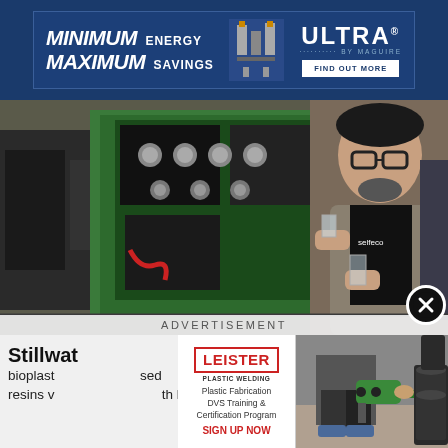[Figure (infographic): Banner advertisement: MINIMUM ENERGY MAXIMUM SAVINGS — ULTRA BY MAGUIRE, FIND OUT MORE]
[Figure (photo): Man in blazer holding plastic cups standing next to green injection molding machine in industrial facility, branded selfeco shirt]
ADVERTISEMENT
Stillwat... o bioplast... ased resins v... his
[Figure (infographic): Leister Plastic Welding advertisement: Plastic Fabrication DVS Training & Certification Program, SIGN UP NOW, with photo of person using handheld welding tool]